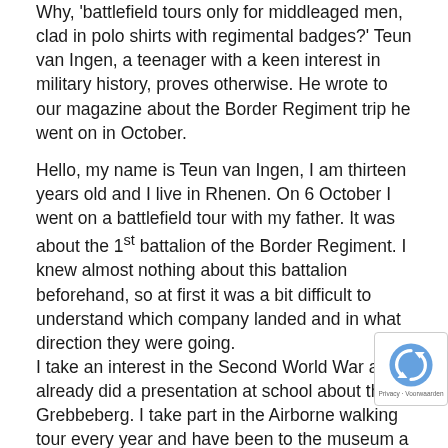Why, 'battlefield tours only for middleaged men, clad in polo shirts with regimental badges?' Teun van Ingen, a teenager with a keen interest in military history, proves otherwise. He wrote to our magazine about the Border Regiment trip he went on in October.
Hello, my name is Teun van Ingen, I am thirteen years old and I live in Rhenen. On 6 October I went on a battlefield tour with my father. It was about the 1st battalion of the Border Regiment. I knew almost nothing about this battalion beforehand, so at first it was a bit difficult to understand which company landed and in what direction they were going.
I take an interest in the Second World War and I already did a presentation at school about the Grebbeberg. I take part in the Airborne walking tour every year and have been to the museum a few times, but I never really thought about the battle of Arnhem. By the way, I am a Vitesse fan and I know that Vitesse